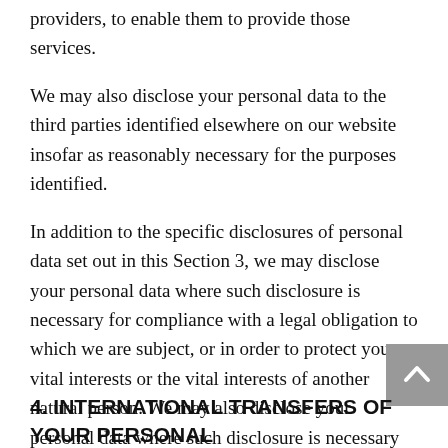providers, to enable them to provide those services.
We may also disclose your personal data to the third parties identified elsewhere on our website insofar as reasonably necessary for the purposes identified.
In addition to the specific disclosures of personal data set out in this Section 3, we may disclose your personal data where such disclosure is necessary for compliance with a legal obligation to which we are subject, or in order to protect your vital interests or the vital interests of another natural person. We may also disclose your personal data where such disclosure is necessary for the establishment, exercise or defence of legal claims, whether in court proceedings or in an administrative or out-of-court procedure.
4. INTERNATIONAL TRANSFERS OF YOUR PERSONAL